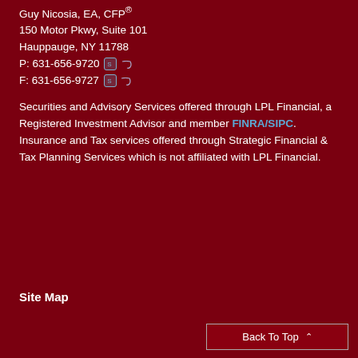Guy Nicosia, EA, CFP®
150 Motor Pkwy, Suite 101
Hauppauge, NY 11788
P: 631-656-9720
F: 631-656-9727
Securities and Advisory Services offered through LPL Financial, a Registered Investment Advisor and member FINRA/SIPC. Insurance and Tax services offered through Strategic Financial & Tax Planning Services which is not affiliated with LPL Financial.
Site Map
Back To Top